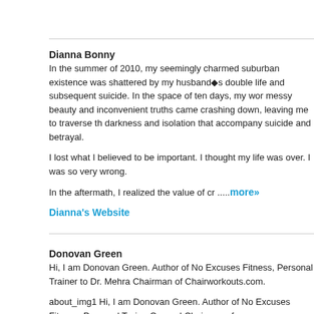Dianna Bonny
In the summer of 2010, my seemingly charmed suburban existence was shattered by my husband◆s double life and subsequent suicide. In the space of ten days, my world of messy beauty and inconvenient truths came crashing down, leaving me to traverse the darkness and isolation that accompany suicide and betrayal.
I lost what I believed to be important. I thought my life was over. I was so very wrong.
In the aftermath, I realized the value of cr .....more»
Dianna's Website
Donovan Green
Hi, I am Donovan Green. Author of No Excuses Fitness, Personal Trainer to Dr. Mehmet Oz, Chairman of Chairworkouts.com.
about_img1 Hi, I am Donovan Green. Author of No Excuses Fitness, Personal Trainer to Dr. Mehmet Oz, and Chairman of Chairworkouts.com. Let me share my philosophy on life with you. A life worth having comes with a struggle. I don◆t care if we◆re t chasing after that pe